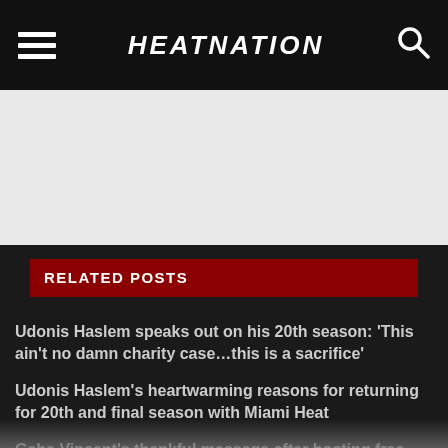HEATNATION
[Figure (other): Light gray blank/image area placeholder]
RELATED POSTS
Udonis Haslem speaks out on his 20th season: ‘This ain’t no damn charity case…this is a sacrifice’
Udonis Haslem’s heartwarming reasons for returning for 20th and final season with Miami Heat
Gabe Vincent’s thankful message after hosting free basketball camp at his alma mater